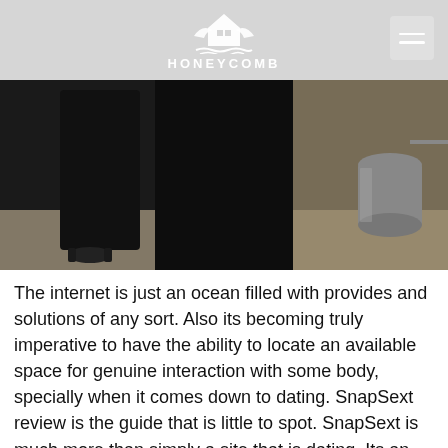HONEYCOMB
[Figure (photo): A dark close-up photo showing a person's lower body/legs near a desk or table with a chair visible.]
The internet is just an ocean filled with provides and solutions of any sort. Also its becoming truly imperative to have the ability to locate an available space for genuine interaction with some body, specially when it comes down to dating. SnapSext review is the guide that is little to spot. SnapSext is much more than simply a site that is dating. Its an on-line community that is dating. Its a free of charge room not merely for solitary both women and men but in addition for partners who wish to dilute their relationships with some brand new